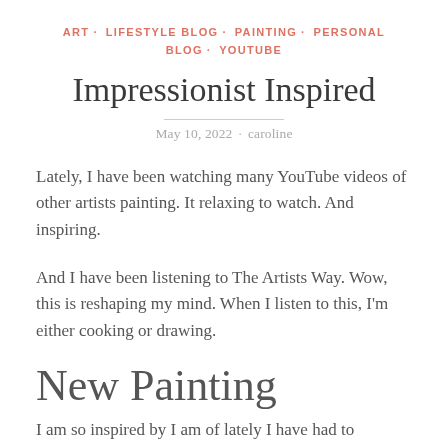ART · LIFESTYLE BLOG · PAINTING · PERSONAL BLOG · YOUTUBE
Impressionist Inspired
May 10, 2022 · caroline
Lately, I have been watching many YouTube videos of other artists painting. It relaxing to watch. And inspiring.
And I have been listening to The Artists Way. Wow, this is reshaping my mind. When I listen to this, I'm either cooking or drawing.
New Painting
I am so inspired by I am of lately I have had to...